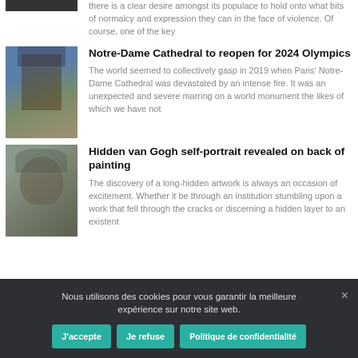there is a clear desire amongst its populace to hold onto what bits of normalcy and expression they can in the face of violence. Of course, one of the key
Notre-Dame Cathedral to reopen for 2024 Olympics
The world seemed to collectively gasp in 2019 when Paris' Notre-Dame Cathedral was devastated by an intense fire. It was an unexpected and severe marring on a world monument the likes of which we have not
Hidden van Gogh self-portrait revealed on back of painting
The discovery of a long-hidden artwork is always an occasion of excitement. Whether it be through an institution stumbling upon a work that fell through the cracks or discerning a hidden layer to an existent
Nous utilisons des cookies pour vous garantir la meilleure expérience sur notre site web.